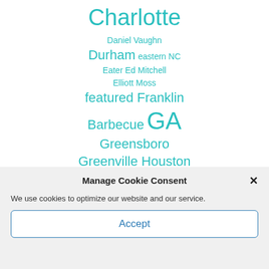Charlotte
Daniel Vaughn
Durham eastern NC
Eater Ed Mitchell
Elliott Moss
featured Franklin
Barbecue GA
Greensboro
Greenville Houston
Jim Noble John Lewis
Manage Cookie Consent
We use cookies to optimize our website and our service.
Accept